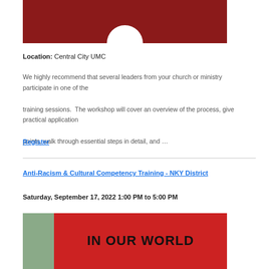[Figure (photo): Dark red/maroon banner image with a white circle at the bottom center, partially cropped at top]
Location: Central City UMC
We highly recommend that several leaders from your church or ministry participate in one of the training sessions.  The workshop will cover an overview of the process, give practical application points, walk through essential steps in detail, and …
Register
Anti-Racism & Cultural Competency Training - NKY District
Saturday, September 17, 2022 1:00 PM to 5:00 PM
[Figure (photo): Red sign with black handwritten text reading 'IN OUR WORLD', partially cropped, with green background on left side]